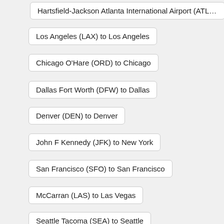Hartsfield-Jackson Atlanta International Airport (ATL) to A…
Los Angeles (LAX) to Los Angeles
Chicago O'Hare (ORD) to Chicago
Dallas Fort Worth (DFW) to Dallas
Denver (DEN) to Denver
John F Kennedy (JFK) to New York
San Francisco (SFO) to San Francisco
McCarran (LAS) to Las Vegas
Seattle Tacoma (SEA) to Seattle
Charlotte Douglas (CLT) to Charlotte